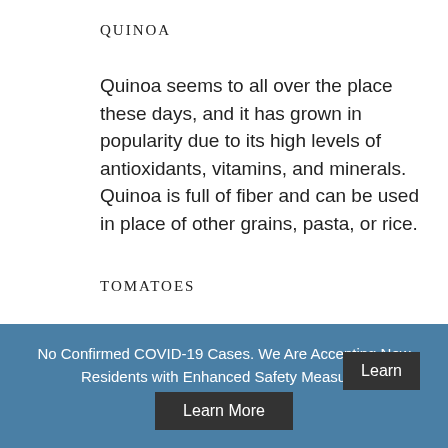QUINOA
Quinoa seems to all over the place these days, and it has grown in popularity due to its high levels of antioxidants, vitamins, and minerals. Quinoa is full of fiber and can be used in place of other grains, pasta, or rice.
TOMATOES
Tomatoes are a superfood full of lycopene. Lycopene is so important because it is a phytochemical known to eradicate cancer-causing free radicals. Lycopene has also
No Confirmed COVID-19 Cases. We Are Accepting New Residents with Enhanced Safety Measures
Learn More